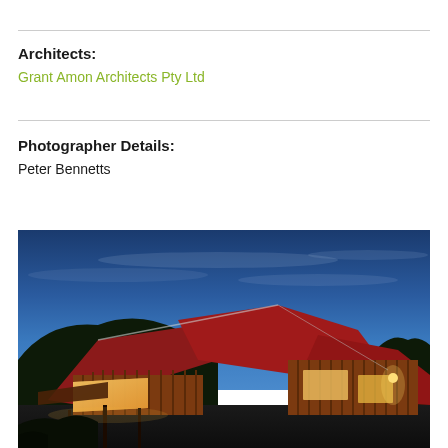Architects:
Grant Amon Architects Pty Ltd
Photographer Details:
Peter Bennetts
[Figure (photo): Twilight exterior photograph of a contemporary angular residential building with red/cedar timber cladding, illuminated interior lights visible through large windows, set against a deep blue dusk sky with hills in the background.]